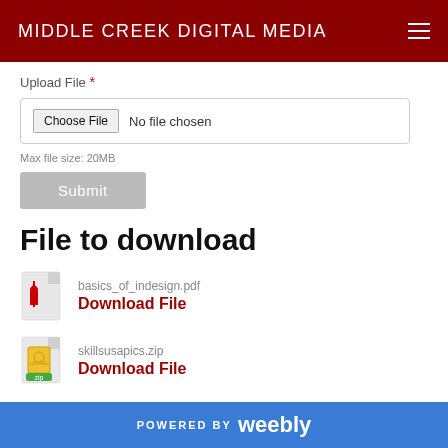MIDDLE CREEK DIGITAL MEDIA
Upload File *
No file chosen
Max file size: 20MB
Submit
File to download
basics_of_indesign.pdf
Download File
skillsusapics.zip
Download File
POWERED BY weebly